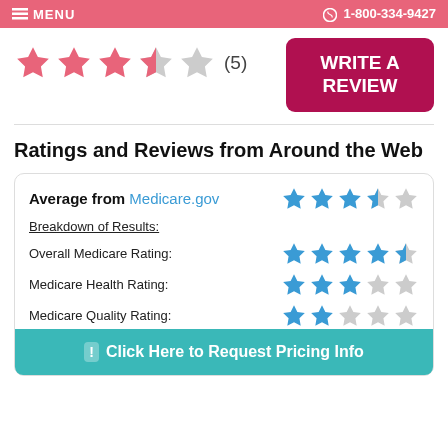MENU   1-800-334-9427
[Figure (infographic): 3.5 out of 5 stars rating with (5) reviews count, and a WRITE A REVIEW button]
Ratings and Reviews from Around the Web
| Category | Rating |
| --- | --- |
| Average from Medicare.gov | 4 out of 5 stars |
| Breakdown of Results: |  |
| Overall Medicare Rating: | 4.5 out of 5 stars |
| Medicare Health Rating: | 3 out of 5 stars |
| Medicare Quality Rating: | 2 out of 5 stars |
Click Here to Request Pricing Info